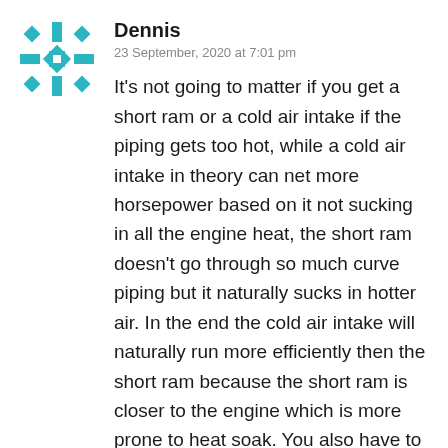[Figure (illustration): Teal/turquoise geometric snowflake-style avatar icon with cross and diamond pattern]
Dennis
23 September, 2020 at 7:01 pm
It’s not going to matter if you get a short ram or a cold air intake if the piping gets too hot, while a cold air intake in theory can net more horsepower based on it not sucking in all the engine heat, the short ram doesn’t go through so much curve piping but it naturally sucks in hotter air. In the end the cold air intake will naturally run more efficiently then the short ram because the short ram is closer to the engine which is more prone to heat soak. You also have to consider that regardless of choice, both pipes are directly connected onto the intake manifold which is connected to the engine which gets so hot that they heat